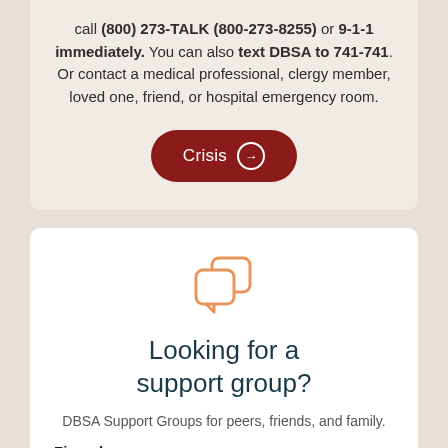call (800) 273-TALK (800-273-8255) or 9-1-1 immediately. You can also text DBSA to 741-741. Or contact a medical professional, clergy member, loved one, friend, or hospital emergency room.
[Figure (illustration): Dark red rounded-rectangle button with white text 'Crisis' and a right-arrow in a white circle]
[Figure (illustration): Orange outline icon of two overlapping speech/chat bubbles]
Looking for a support group?
DBSA Support Groups for peers, friends, and family.
Zipcode: